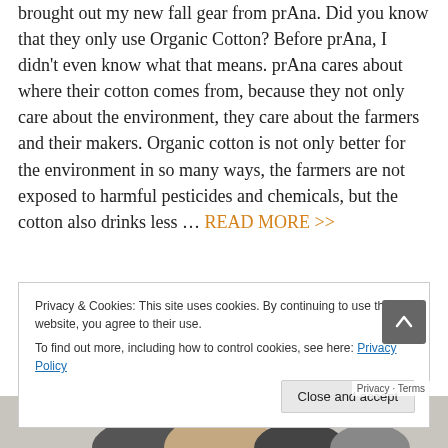brought out my new fall gear from prAna. Did you know that they only use Organic Cotton? Before prAna, I didn't even know what that means. prAna cares about where their cotton comes from, because they not only care about the environment, they care about the farmers and their makers. Organic cotton is not only better for the environment in so many ways, the farmers are not exposed to harmful pesticides and chemicals, but the cotton also drinks less … READ MORE >>
Privacy & Cookies: This site uses cookies. By continuing to use this website, you agree to their use.
To find out more, including how to control cookies, see here: Privacy Policy
[Figure (photo): Bottom strip showing footwear/shoes on a light grey background, partially visible]